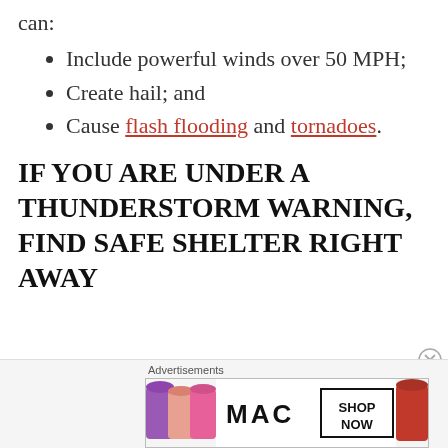can:
Include powerful winds over 50 MPH;
Create hail; and
Cause flash flooding and tornadoes.
IF YOU ARE UNDER A THUNDERSTORM WARNING, FIND SAFE SHELTER RIGHT AWAY
[Figure (other): Advertisement banner for MAC cosmetics showing lipsticks, MAC logo, and SHOP NOW button]